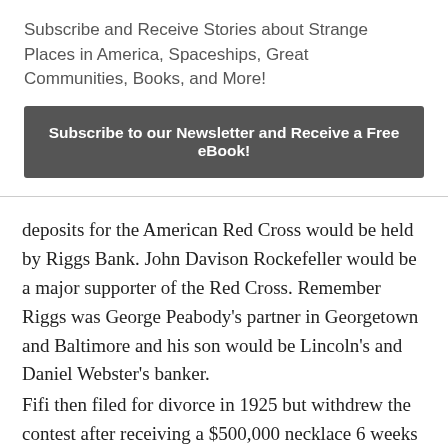Subscribe and Receive Stories about Strange Places in America, Spaceships, Great Communities, Books, and More!
Subscribe to our Newsletter and Receive a Free eBook!
deposits for the American Red Cross would be held by Riggs Bank. John Davison Rockefeller would be a major supporter of the Red Cross. Remember Riggs was George Peabody's partner in Georgetown and Baltimore and his son would be Lincoln's and Daniel Webster's banker.
Fifi then filed for divorce in 1925 but withdrew the contest after receiving a $500,000 necklace 6 weeks later. They then spend five years in Europe and Fifi tries to find herself under the care of Carl Jung. Afterward she renewed the divorce in 1930 which